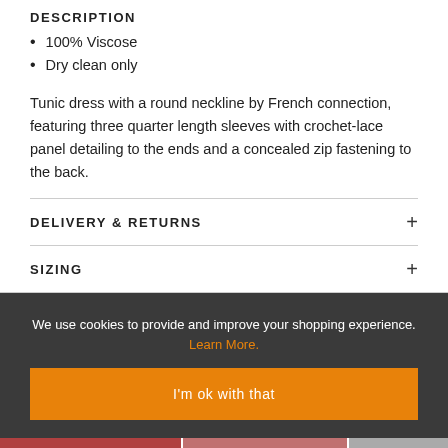DESCRIPTION
100% Viscose
Dry clean only
Tunic dress with a round neckline by French connection, featuring three quarter length sleeves with crochet-lace panel detailing to the ends and a concealed zip fastening to the back.
DELIVERY & RETURNS
SIZING
We use cookies to provide and improve your shopping experience. Learn More.
I'm ok with that
[Figure (photo): Product images at the bottom of the page]